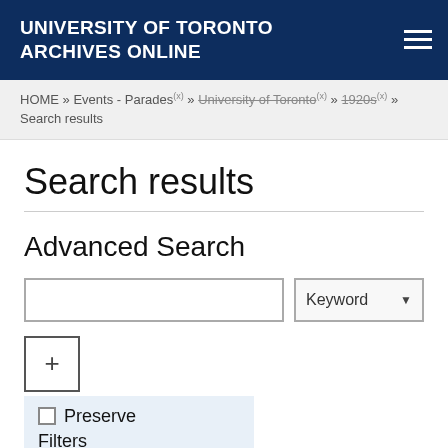UNIVERSITY OF TORONTO ARCHIVES ONLINE
HOME » Events - Parades(x) » University of Toronto(x) » 1920s(x) » Search results
Search results
Advanced Search